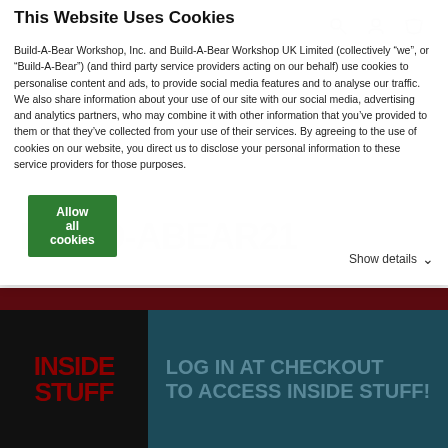This Website Uses Cookies
Build-A-Bear Workshop, Inc. and Build-A-Bear Workshop UK Limited (collectively “we”, or “Build-A-Bear”) (and third party service providers acting on our behalf) use cookies to personalise content and ads, to provide social media features and to analyse our traffic. We also share information about your use of our site with our social media, advertising and analytics partners, who may combine it with other information that you’ve provided to them or that they’ve collected from your use of their services. By agreeing to the use of cookies on our website, you direct us to disclose your personal information to these service providers for those purposes.
Allow all cookies
Show details
[Figure (screenshot): Build-A-Bear website background showing faint logo text and dark banner sections with 'INSIDE STUFF' and 'LOG IN AT CHECKOUT TO ACCESS INSIDE STUFF!' promotional panels]